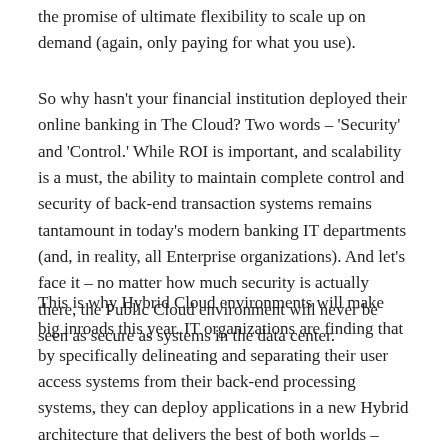the promise of ultimate flexibility to scale up on demand (again, only paying for what you use).
So why hasn't your financial institution deployed their online banking in The Cloud?  Two words – 'Security' and 'Control.' While ROI is important, and scalability is a must, the ability to maintain complete control and security of back-end transaction systems remains tantamount in today's modern banking IT departments (and, in reality, all Enterprise organizations).  And let's face it – no matter how much security is actually there, the Public Cloud environment will never be seen as secure as systems in the data center.
This is why Hybrid Cloud environments will make big inroads this year. IT organizations are finding that by specifically delineating and separating their user access systems from their back-end processing systems, they can deploy applications in a new Hybrid architecture that delivers the best of both worlds – massive flexibility and on-demand scaling for user access, paired with the security and control of the data center for